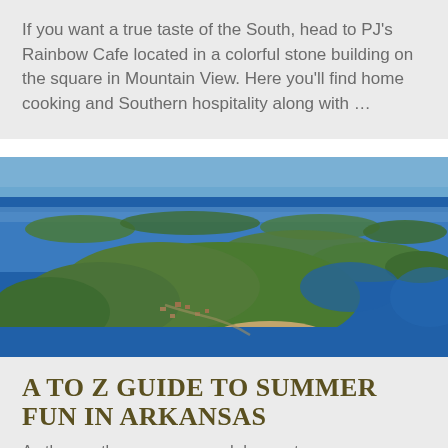If you want a true taste of the South, head to PJ's Rainbow Cafe located in a colorful stone building on the square in Mountain View. Here you'll find home cooking and Southern hospitality along with …
[Figure (photo): Aerial photograph of a lake with forested peninsulas and islands surrounded by deep blue water, with sandy shoreline visible]
A to Z Guide to Summer Fun in Arkansas
As the weather warms up and days get